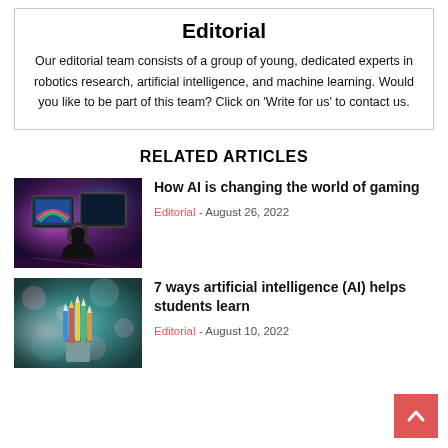Editorial
Our editorial team consists of a group of young, dedicated experts in robotics research, artificial intelligence, and machine learning. Would you like to be part of this team? Click on 'Write for us' to contact us.
RELATED ARTICLES
[Figure (photo): Silhouette of a person with headphones in front of colorful gaming monitors with neon lights]
How AI is changing the world of gaming
Editorial - August 26, 2022
[Figure (photo): Blurred bokeh background with colorful pencils in a cup, teal tones]
7 ways artificial intelligence (AI) helps students learn
Editorial - August 10, 2022